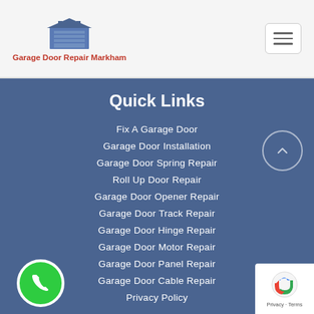Garage Door Repair Markham
Quick Links
Fix A Garage Door
Garage Door Installation
Garage Door Spring Repair
Roll Up Door Repair
Garage Door Opener Repair
Garage Door Track Repair
Garage Door Hinge Repair
Garage Door Motor Repair
Garage Door Panel Repair
Garage Door Cable Repair
Privacy Policy
[Figure (logo): Garage Door Repair Markham logo with garage icon]
[Figure (logo): reCAPTCHA privacy badge]